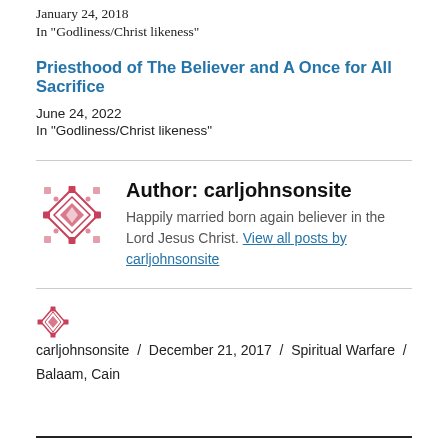January 24, 2018
In "Godliness/Christ likeness"
Priesthood of The Believer and A Once for All Sacrifice
June 24, 2022
In "Godliness/Christ likeness"
Author: carljohnsonsite
Happily married born again believer in the Lord Jesus Christ. View all posts by carljohnsonsite
carljohnsonsite / December 21, 2017 / Spiritual Warfare / Balaam, Cain